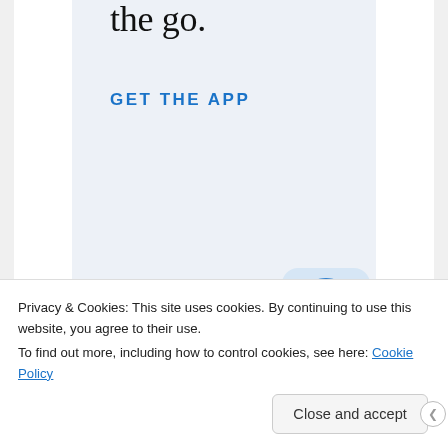the go.
GET THE APP
[Figure (logo): WordPress app icon — blue circular W logo on a light blue rounded square background]
Privacy & Cookies: This site uses cookies. By continuing to use this website, you agree to their use.
To find out more, including how to control cookies, see here: Cookie Policy
Close and accept